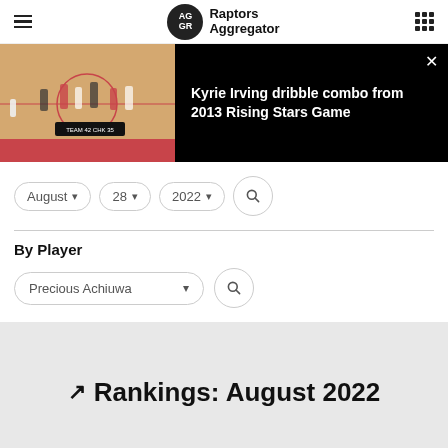Raptors Aggregator
[Figure (screenshot): Basketball game video thumbnail with Kyrie Irving dribble combo from 2013 Rising Stars Game]
Kyrie Irving dribble combo from 2013 Rising Stars Game
August 28 2022
By Player
Precious Achiuwa
Rankings: August 2022